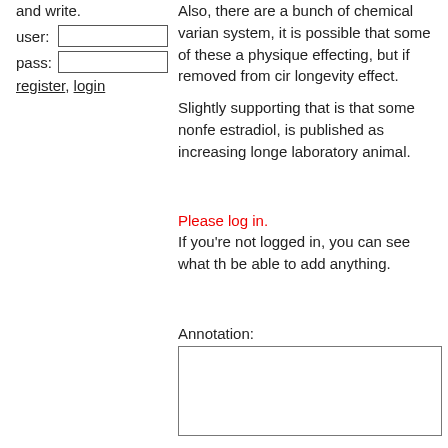and write.
user: [input] pass: [input]
register, login
Also, there are a bunch of chemical variants system, it is possible that some of these a physique effecting, but if removed from cir longevity effect.
Slightly supporting that is that some nonfe estradiol, is published as increasing longe laboratory animal.
Please log in.
If you're not logged in, you can see what th be able to add anything.
Annotation:
[Figure (other): Annotation textarea input box]